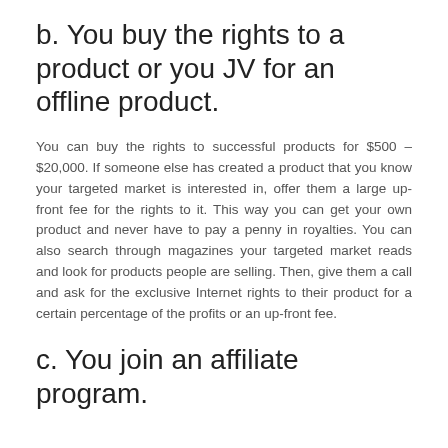b. You buy the rights to a product or you JV for an offline product.
You can buy the rights to successful products for $500 – $20,000. If someone else has created a product that you know your targeted market is interested in, offer them a large up-front fee for the rights to it. This way you can get your own product and never have to pay a penny in royalties. You can also search through magazines your targeted market reads and look for products people are selling. Then, give them a call and ask for the exclusive Internet rights to their product for a certain percentage of the profits or an up-front fee.
c. You join an affiliate program.